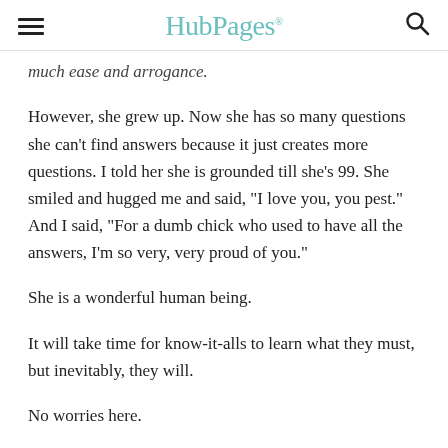HubPages
much ease and arrogance.
However, she grew up. Now she has so many questions she can't find answers because it just creates more questions. I told her she is grounded till she's 99. She smiled and hugged me and said, "I love you, you pest." And I said, "For a dumb chick who used to have all the answers, I'm so very, very proud of you."
She is a wonderful human being.
It will take time for know-it-alls to learn what they must, but inevitably, they will.
No worries here.
Blatva, you are perfect the way you are. Despite any